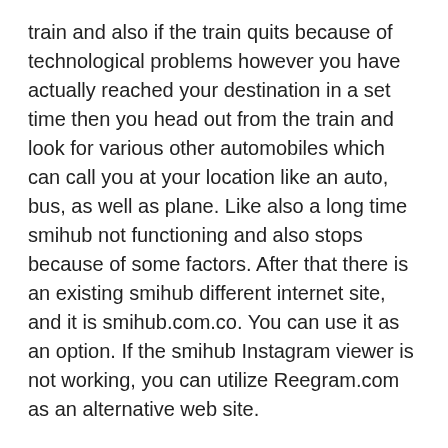train and also if the train quits because of technological problems however you have actually reached your destination in a set time then you head out from the train and look for various other automobiles which can call you at your location like an auto, bus, as well as plane. Like also a long time smihub not functioning and also stops because of some factors. After that there is an existing smihub different internet site, and it is smihub.com.co. You can use it as an option. If the smihub Instagram viewer is not working, you can utilize Reegram.com as an alternative web site.
Smihub reviews
In the innovation age, info exchanges swiftly from one area to another place. So there are numerous on-line systems available where people write evaluations regarding anything they utilize, such as if you purchase a mobile phone as well as you like its features, and also